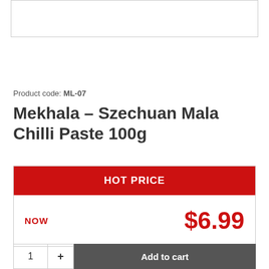[Figure (photo): Product image placeholder box at top of page]
Product code: ML-07
Mekhala – Szechuan Mala Chilli Paste 100g
HOT PRICE
NOW $6.99
Add to cart